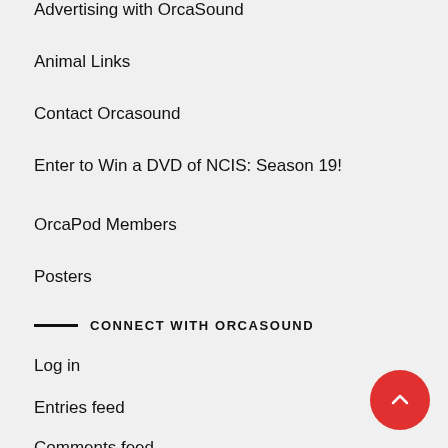Advertising with OrcaSound
Animal Links
Contact Orcasound
Enter to Win a DVD of NCIS: Season 19!
OrcaPod Members
Posters
CONNECT WITH ORCASOUND
Log in
Entries feed
Comments feed